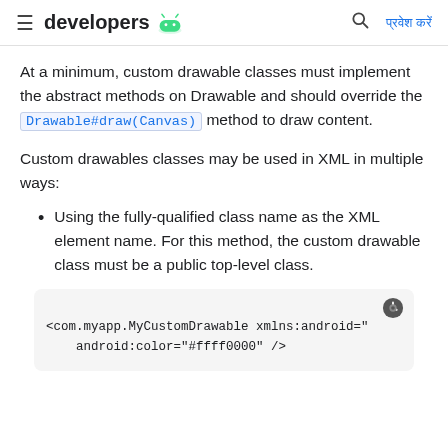developers
At a minimum, custom drawable classes must implement the abstract methods on Drawable and should override the Drawable#draw(Canvas) method to draw content.
Custom drawables classes may be used in XML in multiple ways:
Using the fully-qualified class name as the XML element name. For this method, the custom drawable class must be a public top-level class.
[Figure (screenshot): Code block showing XML snippet: <com.myapp.MyCustomDrawable xmlns:android="..." android:color="#ffff0000" />]